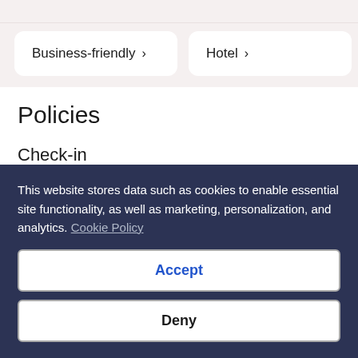Business-friendly >
Hotel >
Policies
Check-in
Check-in from 3:00 PM - midnight
Minimum check-in age - 18
This website stores data such as cookies to enable essential site functionality, as well as marketing, personalization, and analytics. Cookie Policy
Accept
Deny